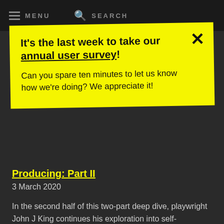MENU  SEARCH
It's the last week to take our annual user survey! Can you spare ten minutes to let us know how we're doing? We appreciate it!
Producing: Part II
3 March 2020
In the second half of this two-part deep dive, playwright John J King continues his exploration into self-producing, looking at the production phase and marketing.